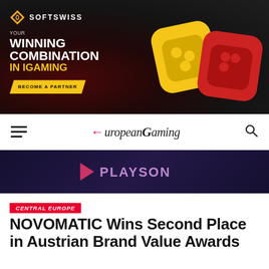[Figure (advertisement): SOFTSWISS advertisement banner with text 'YOUR WINNING COMBINATION IN iGAMING' and 'BECOME A PARTNER' button, featuring 3D interlocked yellow and red chain-link shapes on dark background]
[Figure (logo): European Gaming website navigation bar with hamburger menu, European Gaming logo in italic serif font with red arrow, and search icon]
[Figure (logo): Playson advertisement banner with Playson logo (triangle play icon and text) on dark purple/navy background]
CENTRAL EUROPE
NOVOMATIC Wins Second Place in Austrian Brand Value Awards